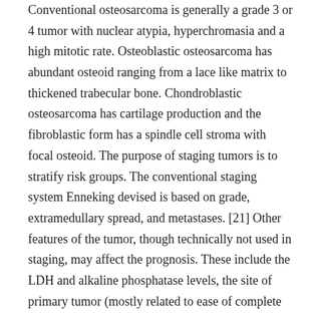Conventional osteosarcoma is generally a grade 3 or 4 tumor with nuclear atypia, hyperchromasia and a high mitotic rate. Osteoblastic osteosarcoma has abundant osteoid ranging from a lace like matrix to thickened trabecular bone. Chondroblastic osteosarcoma has cartilage production and the fibroblastic form has a spindle cell stroma with focal osteoid. The purpose of staging tumors is to stratify risk groups. The conventional staging system Enneking devised is based on grade, extramedullary spread, and metastases. [21] Other features of the tumor, though technically not used in staging, may affect the prognosis. These include the LDH and alkaline phosphatase levels, the site of primary tumor (mostly related to ease of complete resection), the histologic response to chemotherapy [6], and the cause of disease. Before the use of